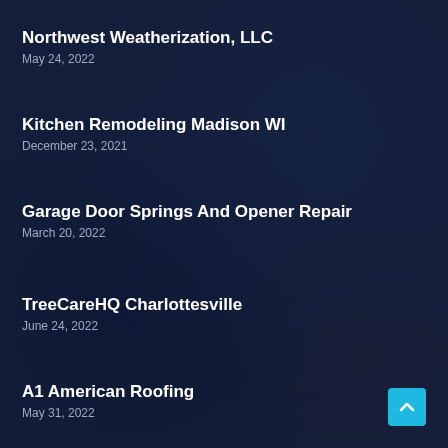Northwest Weatherization, LLC
May 24, 2022
Kitchen Remodeling Madison WI
December 23, 2021
Garage Door Springs And Opener Repair
March 20, 2022
TreeCareHQ Charlottesville
June 24, 2022
A1 American Roofing
May 31, 2022